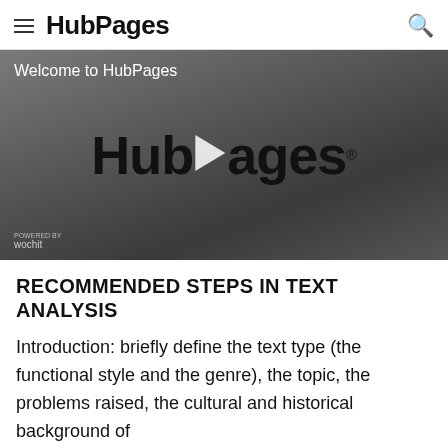HubPages
[Figure (screenshot): Video thumbnail showing HubPages logo with play button overlay on dark grey gradient background. Title text reads 'Welcome to HubPages'. Wochit badge in bottom left corner.]
RECOMMENDED STEPS IN TEXT ANALYSIS
Introduction: briefly define the text type (the functional style and the genre), the topic, the problems raised, the cultural and historical background of